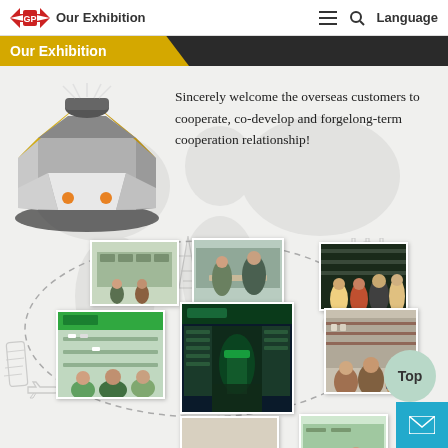Our Exhibition — GP Logo — hamburger menu, search, Language
Our Exhibition
Sincerely welcome the overseas customers to cooperate, co-develop and forgelong-term cooperation relationship!
[Figure (illustration): 3D illustration of a trade show exhibition booth with gold/yellow chevron roofline and white structure with orange accent lights, set on a dark floor]
[Figure (photo): Collage of exhibition/trade show photos arranged in a circular dashed-line pattern, with landmark silhouettes (Eiffel Tower, Leaning Tower of Pisa, castle/fortress, airplane) around the outside. Photos show trade show booth displays, visitors browsing products, and meeting scenes.]